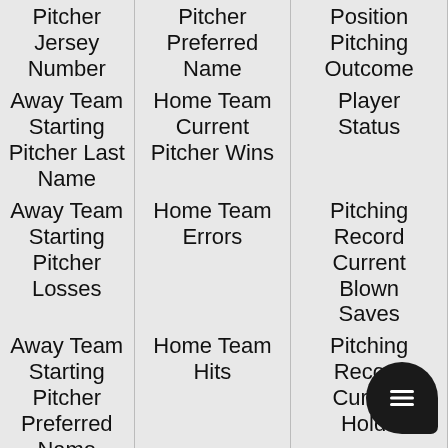| Pitcher Jersey Number | Pitcher Preferred Name | Position Pitching Outcome |
| Away Team Starting Pitcher Last Name | Home Team Current Pitcher Wins | Player Status |
| Away Team Starting Pitcher Losses | Home Team Errors | Pitching Record Current Blown Saves |
| Away Team Starting Pitcher Preferred Name | Home Team Hits | Pitching Record Current Holds |
| Away Team Starting Pitcher Wins | Home Team Id | Pitching Record Current Losses |
|  | Home Team Loss |  |
|  | Home Team Market | Pitching Record Cur... |
|  | Home Team Name | Loss... |
|  | Home Team | Pitching |